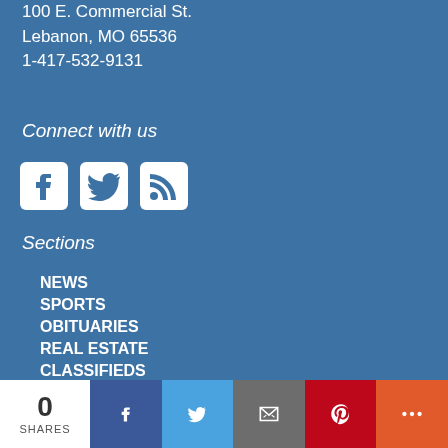100 E. Commercial St.
Lebanon, MO 65536
1-417-532-9131
Connect with us
[Figure (other): Social media icons: Facebook, Twitter, RSS feed]
Sections
NEWS
SPORTS
OBITUARIES
REAL ESTATE
CLASSIFIEDS
E-EDITION
SUBSCRIBE
ADVERTISE
ARCHIVES
[Figure (other): Social sharing bar at bottom: 0 SHARES count, Facebook, Twitter, Email, Pinterest, More buttons]